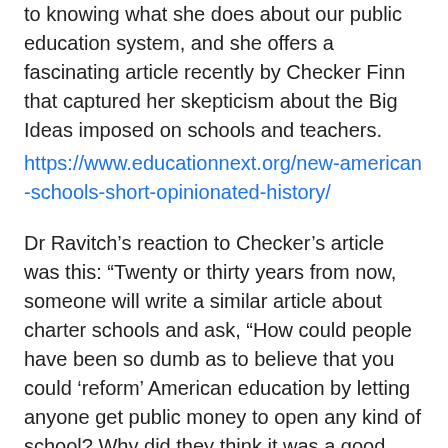to knowing what she does about our public education system, and she offers a fascinating article recently by Checker Finn that captured her skepticism about the Big Ideas imposed on schools and teachers.
https://www.educationnext.org/new-american-schools-short-opinionated-history/
Dr Ravitch’s reaction to Checker’s article was this: “Twenty or thirty years from now, someone will write a similar article about charter schools and ask, “How could people have been so dumb as to believe that you could ‘reform’ American education by letting anyone get public money to open any kind of school? Why did they think it was a good idea to let entrepreneurs and for-profit entities open schools? Why did they allow